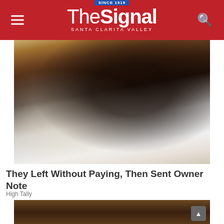The Signal – Santa Clarita Valley (Since 1919)
[Figure (photo): A man in a black leather jacket holding a paper document, sitting inside a restaurant with wooden chairs and tables in the background.]
They Left Without Paying, Then Sent Owner Note
High Tally
[Figure (photo): Partial view of a wooden surface or furniture, bottom of page.]